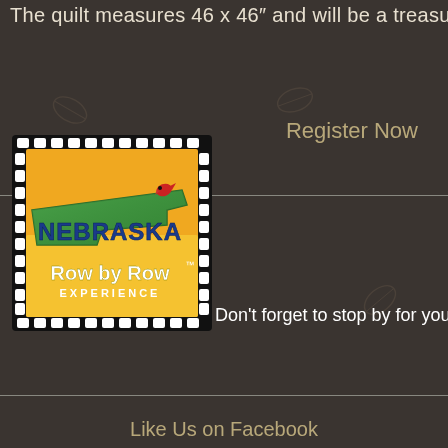The quilt measures 46 x 46  and will be a treasured
Register Now
[Figure (logo): Nebraska Row by Row Experience logo — orange/yellow square background with a green silhouette of Nebraska state, a red cardinal bird, 'NEBRASKA' in blue text, 'Row by Row' in white text, 'EXPERIENCE' in smaller white text below. Logo has a dashed white/black filmstrip border.]
Don't forget to stop by for you
Like Us on Facebook